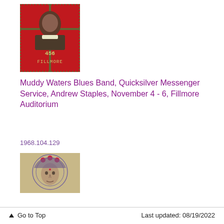[Figure (illustration): Concert poster for Fillmore Auditorium showing a figure with red and green colors, text reads '456 Fillmore']
Muddy Waters Blues Band, Quicksilver Messenger Service, Andrew Staples, November 4 - 6, Fillmore Auditorium
1968.104.129
[Figure (illustration): Concert poster showing a face with ornate headdress in purple and red tones]
↑ Go to Top    Last updated: 08/19/2022